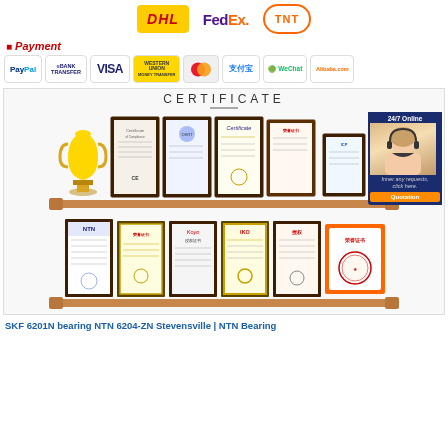[Figure (logo): Shipping carrier logos: DHL, FedEx, TNT]
Payment
[Figure (logo): Payment method logos: PayPal, Bank Transfer, VISA, Western Union, MasterCard, 支付宝 (Alipay), WeChat, Alibaba.com]
[Figure (photo): Certificate display section showing trophy and multiple framed certificates on two wooden shelves, with a 24/7 online customer service agent overlay on the right]
SKF 6201N bearing NTN 6204-ZN Stevensville | NTN Bearing